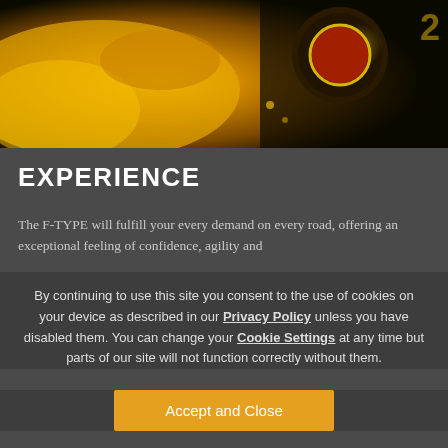[Figure (photo): Close-up photograph of golden/yellow Jaguar car detail, showing a gear shift knob with Jaguar logo badge, dark background with warm golden tones]
EXPERIENCE
The F-TYPE will fulfill your every demand on every road, offering an exceptional feeling of confidence, agility and
By continuing to use this site you consent to the use of cookies on your device as described in our Privacy Policy unless you have disabled them. You can change your Cookie Settings at any time but parts of our site will not function correctly without them.
Accept and Close